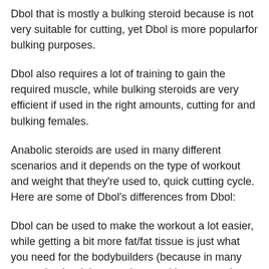Dbol that is mostly a bulking steroid because is not very suitable for cutting, yet Dbol is more popularfor bulking purposes.
Dbol also requires a lot of training to gain the required muscle, while bulking steroids are very efficient if used in the right amounts, cutting for and bulking females.
Anabolic steroids are used in many different scenarios and it depends on the type of workout and weight that they're used to, quick cutting cycle. Here are some of Dbol's differences from Dbol:
Dbol can be used to make the workout a lot easier, while getting a bit more fat/fat tissue is just what you need for the bodybuilders (because in many cases they're doing very long and intense workouts on a bodybuilder's body weight).